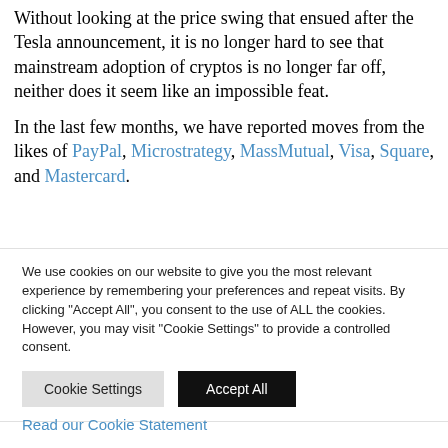Without looking at the price swing that ensued after the Tesla announcement, it is no longer hard to see that mainstream adoption of cryptos is no longer far off, neither does it seem like an impossible feat.
In the last few months, we have reported moves from the likes of PayPal, Microstrategy, MassMutual, Visa, Square, and Mastercard.
We use cookies on our website to give you the most relevant experience by remembering your preferences and repeat visits. By clicking "Accept All", you consent to the use of ALL the cookies. However, you may visit "Cookie Settings" to provide a controlled consent.
Read our Cookie Statement